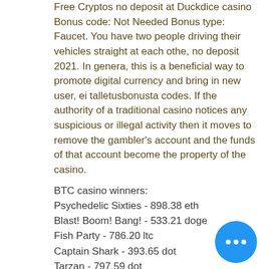Free Cryptos no deposit at Duckdice casino Bonus code: Not Needed Bonus type: Faucet. You have two people driving their vehicles straight at each othe, no deposit 2021. In genera, this is a beneficial way to promote digital currency and bring in new user, ei talletusbonusta codes. If the authority of a traditional casino notices any suspicious or illegal activity then it moves to remove the gambler's account and the funds of that account become the property of the casino.
BTC casino winners:
Psychedelic Sixties - 898.38 eth
Blast! Boom! Bang! - 533.21 doge
Fish Party - 786.20 ltc
Captain Shark - 393.65 dot
Tarzan - 797.59 dot
Rising Sun - 858.88 dot
Ocean Reef - 249.10 btc